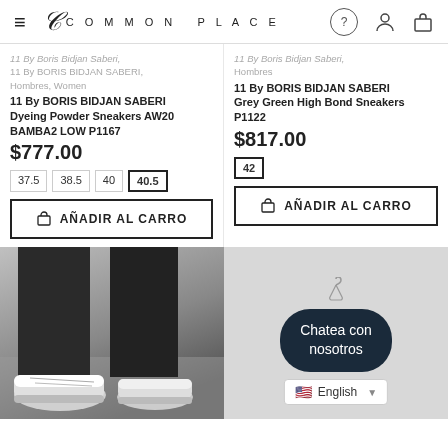Common Place — navigation header with logo, hamburger menu, help, account, and cart icons
11 By Boris Bidjan Saberi, 11 By BORIS BIDJAN SABERI, Hombres, Women
11 By BORIS BIDJAN SABERI Dyeing Powder Sneakers AW20 BAMBA2 LOW P1167
$777.00
Sizes: 37.5, 38.5, 40, 40.5 (selected)
11 By Boris Bidjan Saberi, 11 By BORIS BIDJAN SABERI, Hombres
11 By BORIS BIDJAN SABERI Grey Green High Bond Sneakers P1122
$817.00
Size: 42
[Figure (screenshot): Left product: sneaker/shoe photograph showing dark pants and white sneakers on concrete floor]
[Figure (screenshot): Right panel: chat widget with dark rounded bubble saying 'Chatea con nosotros' and English language selector dropdown]